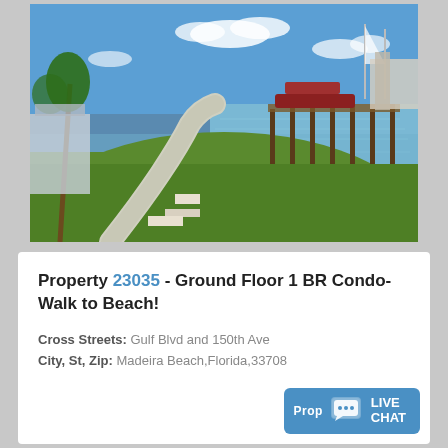[Figure (photo): Outdoor marina/waterfront scene with a winding concrete path through green lawn, docks with boats on calm blue water, palm trees, and blue sky with clouds in background.]
Property 23035 - Ground Floor 1 BR Condo- Walk to Beach!
Cross Streets: Gulf Blvd and 150th Ave
City, St, Zip: Madeira Beach,Florida,33708